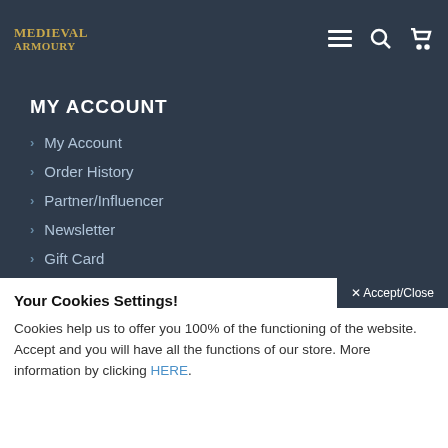Medieval Armoury — menu and search icons
MY ACCOUNT
My Account
Order History
Partner/Influencer
Newsletter
Gift Card
Privacy Policy
General Conditions
Legal Warning
NEWSLETTER
Your Cookies Settings!
Cookies help us to offer you 100% of the functioning of the website. Accept and you will have all the functions of our store. More information by clicking HERE.